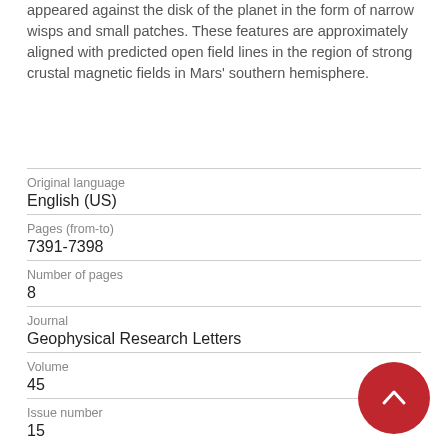appeared against the disk of the planet in the form of narrow wisps and small patches. These features are approximately aligned with predicted open field lines in the region of strong crustal magnetic fields in Mars' southern hemisphere.
| Original language | English (US) |
| Pages (from-to) | 7391-7398 |
| Number of pages | 8 |
| Journal | Geophysical Research Letters |
| Volume | 45 |
| Issue number | 15 |